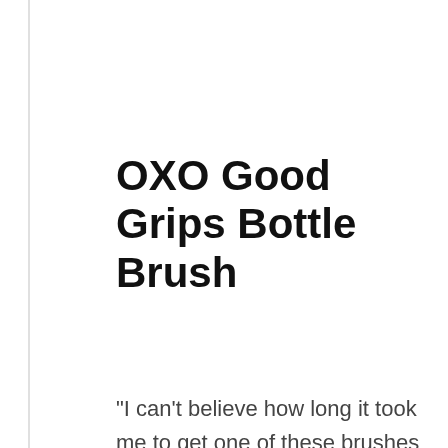OXO Good Grips Bottle Brush
“I can’t believe how long it took me to get one of these brushes for my water bottles. I also can’t believe how gnarly my water bottle gets,
We use cookies on our website to give you the most relevant experience by remembering your preferences and repeat visits. By clicking “Accept All”, you consent to the use of ALL the cookies. However, you may visit “Cookie Settings” to provide a controlled consent.
Cookie Settings
Accept All